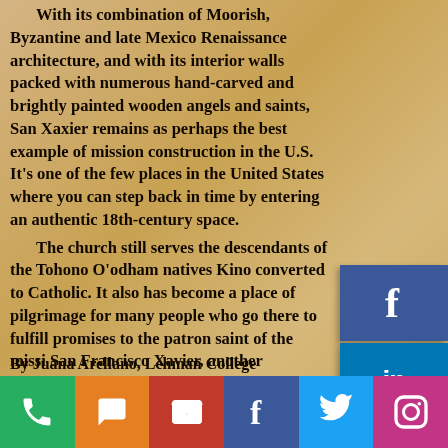With its combination of Moorish, Byzantine and late Mexico Renaissance architecture, and with its interior walls packed with numerous hand-carved and brightly painted wooden angels and saints, San Xaxier remains as perhaps the best example of mission construction in the U.S. It's one of the few places in the United States where you can step back in time by entering an authentic 18th-century space.
The church still serves the descendants of the Tohono O'odham natives Kino converted to Catholic. It also has become a place of pilgrimage for many people who go there to fulfill promises to the patron saint of the mission, San Francisco Xavier, another missionary who was one of the founders of the Jesuit order.
By Juana Arellano, Lehman College
Read more, see more photos:
My Pilgrimage to San Xavier and Keeping M
[Figure (infographic): Social media sidebar buttons: Facebook (dark blue), LinkedIn (blue), YouTube (red), Twitter (cyan)]
[Figure (infographic): Bottom social sharing bar with phone, message, email, Facebook, Twitter, and Instagram icon buttons]